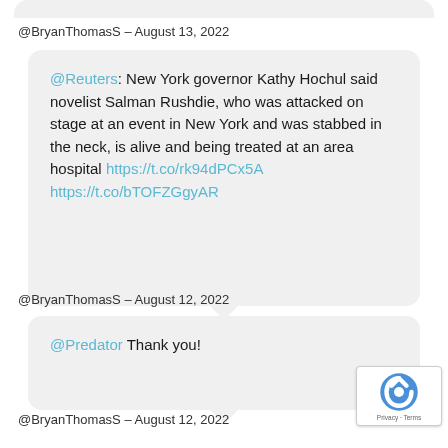@BryanThomasS - August 13, 2022
@Reuters: New York governor Kathy Hochul said novelist Salman Rushdie, who was attacked on stage at an event in New York and was stabbed in the neck, is alive and being treated at an area hospital https://t.co/rk94dPCx5A https://t.co/bTOFZGgyAR
@BryanThomasS - August 12, 2022
@Predator Thank you!
@BryanThomasS - August 12, 2022